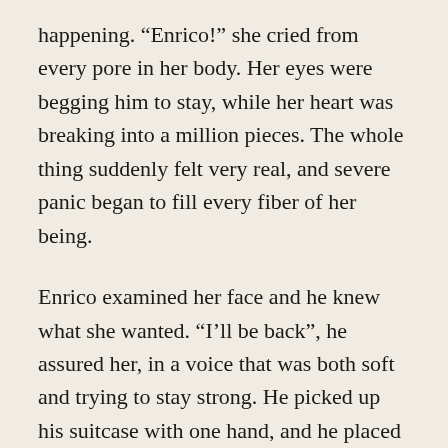happening. “Enrico!” she cried from every pore in her body. Her eyes were begging him to stay, while her heart was breaking into a million pieces. The whole thing suddenly felt very real, and severe panic began to fill every fiber of her being.
Enrico examined her face and he knew what she wanted. “I’ll be back”, he assured her, in a voice that was both soft and trying to stay strong. He picked up his suitcase with one hand, and he placed something in her hand with the other.
Without looking to see what it was, she swaddled the object safely in the palm of her hand, while